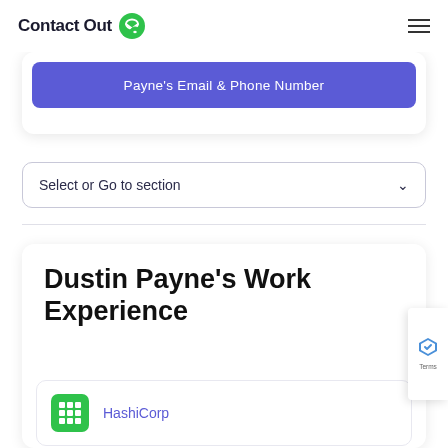ContactOut
Payne's Email & Phone Number
Select or Go to section
Dustin Payne's Work Experience
HashiCorp